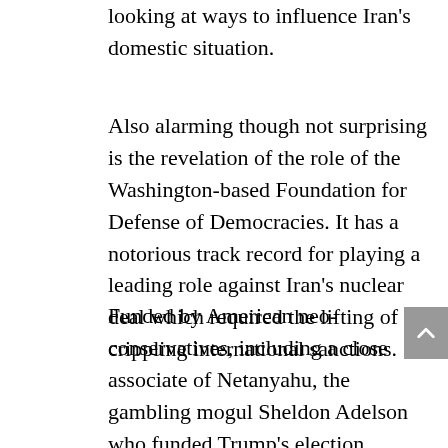looking at ways to influence Iran's domestic situation.
Also alarming though not surprising is the revelation of the role of the Washington-based Foundation for Defense of Democracies. It has a notorious track record for playing a leading role against Iran's nuclear deal which required the lifting of crippling international sanctions.
Funded by American neo-conservatives, including a close associate of Netanyahu, the gambling mogul Sheldon Adelson who funded Trump's election campaign, the rightwing think-tank had a series of discussions with senior UAE officials to plot policies “to positively impact Iranian internal situation”. Al Otaiba’s leaked emails further reveal that among the list of policies were “political